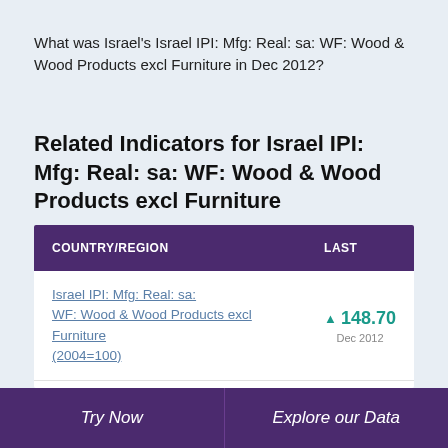What was Israel's Israel IPI: Mfg: Real: sa: WF: Wood & Wood Products excl Furniture in Dec 2012?
Related Indicators for Israel IPI: Mfg: Real: sa: WF: Wood & Wood Products excl Furniture
| COUNTRY/REGION | LAST |
| --- | --- |
| Israel IPI: Mfg: Real: sa: WF: Wood & Wood Products excl Furniture (2004=100) | ▲ 148.70 Dec 2012 |
| Israel Industrial Production Index (IPI): | ▼ 133.50 |
Try Now   Explore our Data